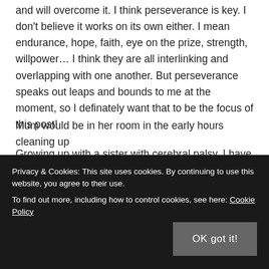and will overcome it. I think perseverance is key. I don't believe it works on its own either. I mean endurance, hope, faith, eye on the prize, strength, willpower… I think they are all interlinking and overlapping with one another. But perseverance speaks out leaps and bounds to me at the moment, so I definately want that to be the focus of this post!
Growing up with a sister with cerebral palsy, I have been raised in a house where perseverance is definately essential and is something that has strenghtened my family as a whole over the years. We are a work in
Mum would be in her room in the early hours cleaning up
Privacy & Cookies: This site uses cookies. By continuing to use this website, you agree to their use.
To find out more, including how to control cookies, see here: Cookie Policy